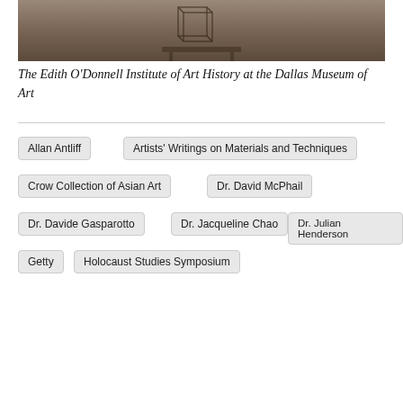[Figure (photo): Photograph showing art objects or furniture on a light carpet background, with a geometric wire/metal frame structure visible]
The Edith O'Donnell Institute of Art History at the Dallas Museum of Art
Allan Antliff
Artists' Writings on Materials and Techniques
Crow Collection of Asian Art
Dr. David McPhail
Dr. Davide Gasparotto
Dr. Jacqueline Chao
Dr. Julian Henderson
Getty
Holocaust Studies Symposium